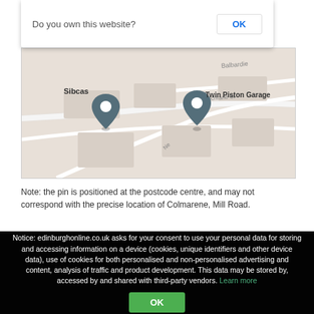[Figure (screenshot): Google Maps dialog bar showing 'Do you own this website?' with OK button]
[Figure (map): Street map showing Sibcas and Twin Piston Garage locations with map pins, streets include Cochrane St and Balbardie area]
Note: the pin is positioned at the postcode centre, and may not correspond with the precise location of Colmarene, Mill Road.
Edinburgh Online   About us   Reviews   Shopping   Find a business
Notice: edinburghonline.co.uk asks for your consent to use your personal data for storing and accessing information on a device (cookies, unique identifiers and other device data), use of cookies for both personalised and non-personalised advertising and content, analysis of traffic and product development. This data may be stored by, accessed by and shared with third-party vendors. Learn more
Edinburgh Online is part of the BRITAINONLINE network of city guides